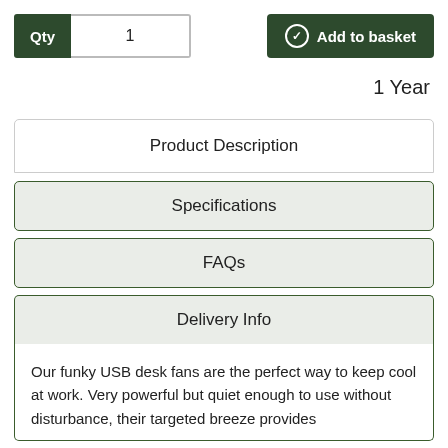Qty  1
Add to basket
1 Year
Product Description
Specifications
FAQs
Delivery Info
Our funky USB desk fans are the perfect way to keep cool at work. Very powerful but quiet enough to use without disturbance, their targeted breeze provides